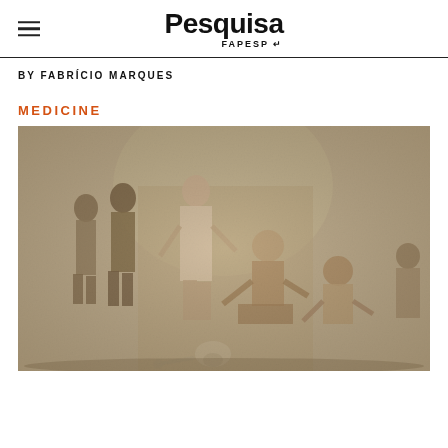Pesquisa FAPESP
BY FABRÍCIO MARQUES
MEDICINE
[Figure (illustration): Historical engraving depicting a medical or anatomical scene with several figures in classical dress. A central standing figure interacts with a seated patient while other attendants look on. A skull is visible on the ground in the foreground.]